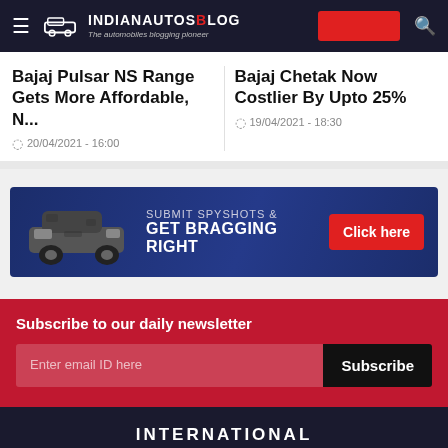IndianAutosBlog — The automobiles blogging pioneer
Bajaj Pulsar NS Range Gets More Affordable, N...
20/04/2021 - 16:00
Bajaj Chetak Now Costlier By Upto 25%
19/04/2021 - 18:30
[Figure (infographic): Ad banner with car spy shot: SUBMIT SPYSHOTS & GET BRAGGING RIGHT — Click here button]
Subscribe to our daily newsletter
Enter email ID here
Subscribe
INTERNATIONAL